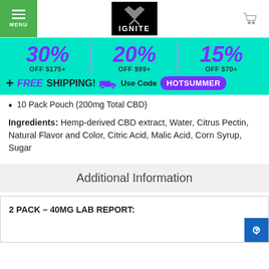MENU | IGNITE | Cart
[Figure (infographic): Promotional banner: 30% OFF $175+ | 20% OFF $99+ | 15% OFF $70+ + FREE SHIPPING! Use Code HOTSUMMER]
10 Pack Pouch (200mg Total CBD)
Ingredients: Hemp-derived CBD extract, Water, Citrus Pectin, Natural Flavor and Color, Citric Acid, Malic Acid, Corn Syrup, Sugar
Additional Information
2 PACK – 40MG LAB REPORT: